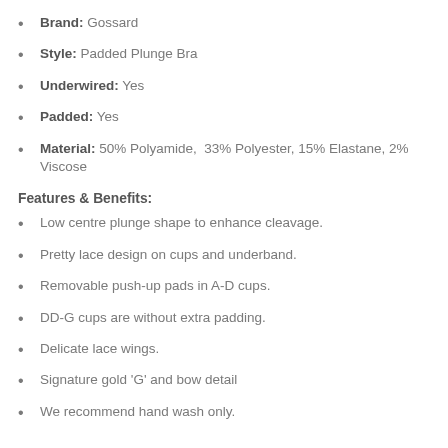Brand: Gossard
Style: Padded Plunge Bra
Underwired: Yes
Padded: Yes
Material: 50% Polyamide, 33% Polyester, 15% Elastane, 2% Viscose
Features & Benefits:
Low centre plunge shape to enhance cleavage.
Pretty lace design on cups and underband.
Removable push-up pads in A-D cups.
DD-G cups are without extra padding.
Delicate lace wings.
Signature gold 'G' and bow detail
We recommend hand wash only.